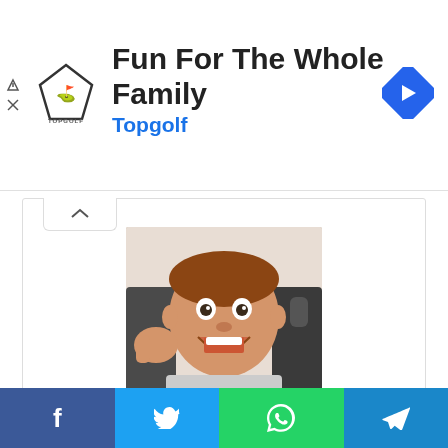[Figure (other): Topgolf advertisement banner with logo, text 'Fun For The Whole Family', subtitle 'Topgolf', and navigation icon]
[Figure (photo): Profile photo of Phil Schwartz, a man making an excited expression with thumbs up]
Phil Schwartz
“Food expert. Unapologetic bacon maven. Beer enthusiast. Pop cultureaholic. General travel scholar. Total internet buff.”
[Figure (other): Social sharing buttons row: Facebook, Twitter, LinkedIn, Tumblr, Pinterest, Reddit, VK, Email]
[Figure (other): Bottom share bar with Facebook, Twitter, WhatsApp, Telegram icons]